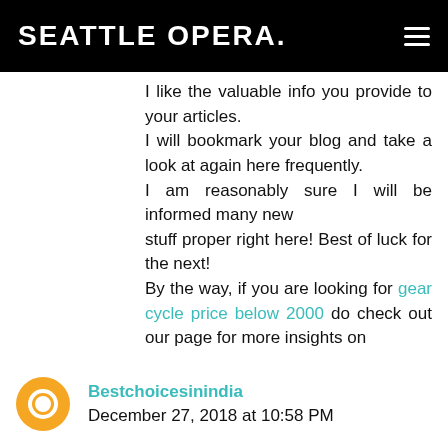SEATTLE OPERA.
I like the valuable info you provide to your articles.
I will bookmark your blog and take a look at again here frequently.
I am reasonably sure I will be informed many new
stuff proper right here! Best of luck for the next!
By the way, if you are looking for gear cycle price below 2000 do check out our page for more insights on
Reply
Bestchoicesinindia December 27, 2018 at 10:58 PM